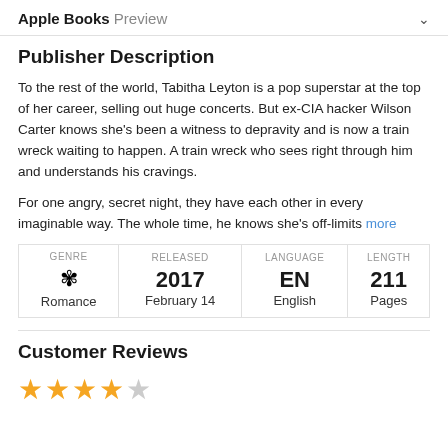Apple Books Preview
Publisher Description
To the rest of the world, Tabitha Leyton is a pop superstar at the top of her career, selling out huge concerts. But ex-CIA hacker Wilson Carter knows she's been a witness to depravity and is now a train wreck waiting to happen. A train wreck who sees right through him and understands his cravings.

For one angry, secret night, they have each other in every imaginable way. The whole time, he knows she's off-limits more
| GENRE | RELEASED | LANGUAGE | LENGTH |
| --- | --- | --- | --- |
| Romance | 2017
February 14 | EN
English | 211
Pages |
Customer Reviews
[Figure (other): Four filled star icons and one empty star icon representing a rating]